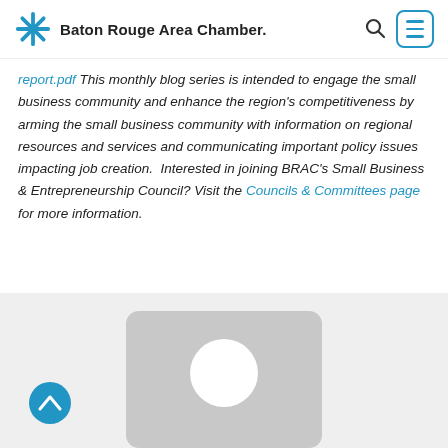Baton Rouge Area Chamber.
report.pdf This monthly blog series is intended to engage the small business community and enhance the region's competitiveness by arming the small business community with information on regional resources and services and communicating important policy issues impacting job creation.  Interested in joining BRAC's Small Business & Entrepreneurship Council? Visit the Councils & Committees page for more information.
[Figure (illustration): Gray rounded rectangle avatar placeholder card with a white circle representing a user profile image, shown partially at the bottom of the page on a light gray background. A blue circular back-to-top button with an upward chevron is visible at the lower left.]